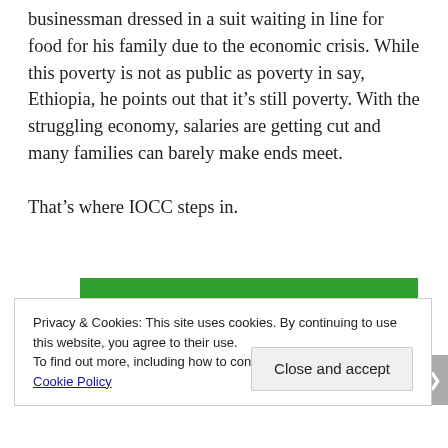businessman dressed in a suit waiting in line for food for his family due to the economic crisis. While this poverty is not as public as poverty in say, Ethiopia, he points out that it’s still poverty. With the struggling economy, salaries are getting cut and many families can barely make ends meet.

That’s where IOCC steps in.
[Figure (other): Green promotional banner with white bold text reading 'You run your business.']
Privacy & Cookies: This site uses cookies. By continuing to use this website, you agree to their use.
To find out more, including how to control cookies, see here: Cookie Policy
Close and accept